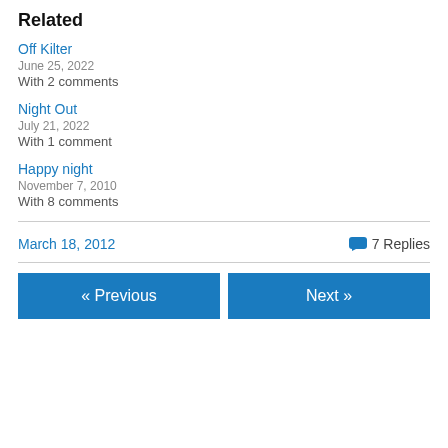Related
Off Kilter
June 25, 2022
With 2 comments
Night Out
July 21, 2022
With 1 comment
Happy night
November 7, 2010
With 8 comments
March 18, 2012     7 Replies
« Previous     Next »